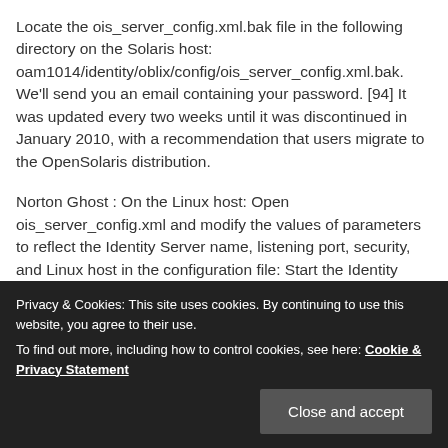Locate the ois_server_config.xml.bak file in the following directory on the Solaris host: oam1014/identity/oblix/config/ois_server_config.xml.bak. We'll send you an email containing your password. [94] It was updated every two weeks until it was discontinued in January 2010, with a recommendation that users migrate to the OpenSolaris distribution.
Norton Ghost : On the Linux host: Open ois_server_config.xml and modify the values of parameters to reflect the Identity Server name, listening port, security, and Linux host in the configuration file: Start the Identity Server service on the Linux host. (October 2011) An observation about server-class security foundation for the earlier installation that you will
Privacy & Cookies: This site uses cookies. By continuing to use this website, you agree to their use. To find out more, including how to control cookies, see here: Cookie & Privacy Statement